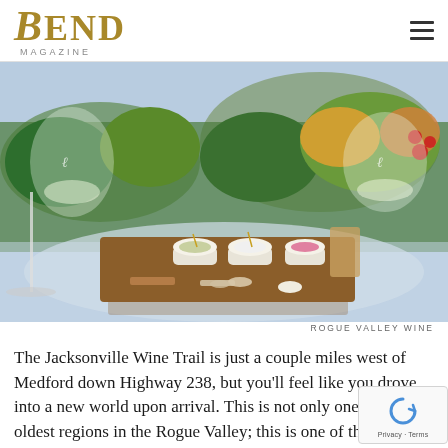BEND Magazine
[Figure (photo): A wooden charcuterie/appetizer board with bowls of dips and crackers, flanked by two wine glasses with white wine, set on a glass table with lush vineyard and autumn foliage in the background. Rogue Valley Wine.]
ROGUE VALLEY WINE
The Jacksonville Wine Trail is just a couple miles west of Medford down Highway 238, but you'll feel like you drove into a new world upon arrival. This is not only one of the oldest regions in the Rogue Valley; this is one of the Anglo-settlements in all of Oregon. The wine trail includes